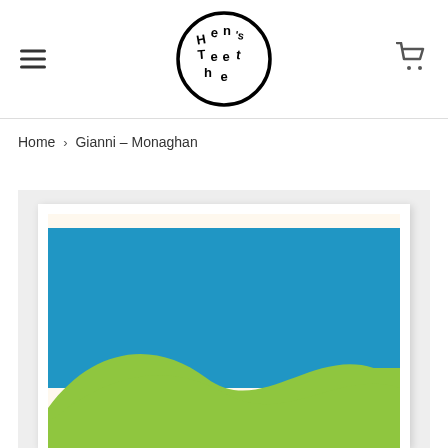[Figure (logo): Hen's Teeth logo — circular black outline with stylized hand-lettered text reading Hen's Teeth inside]
Home › Gianni – Monaghan
[Figure (illustration): Partial view of a framed art print showing rolling green hills against a blue sky background on a cream/off-white paper. The green hills have a wave-like silhouette. The print is shown with a white mat/border inside a light grey frame background.]